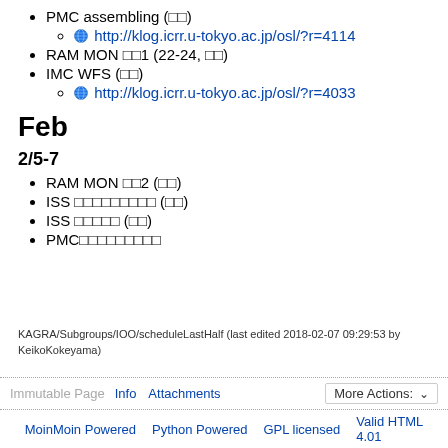PMC assembling (□□)
http://klog.icrr.u-tokyo.ac.jp/osl/?r=4114
RAM MON □□1 (22-24, □□)
IMC WFS (□□)
http://klog.icrr.u-tokyo.ac.jp/osl/?r=4033
Feb
2/5-7
RAM MON □□2 (□□)
ISS □□□□□□□□□ (□□)
ISS □□□□□ (□□)
PMC□□□□□□□□□
KAGRA/Subgroups/IOO/scheduleLastHalf (last edited 2018-02-07 09:29:53 by KeikoKokeyama)
Immutable Page  Info  Attachments  More Actions:  MoinMoin Powered  Python Powered  GPL licensed  Valid HTML  4.01